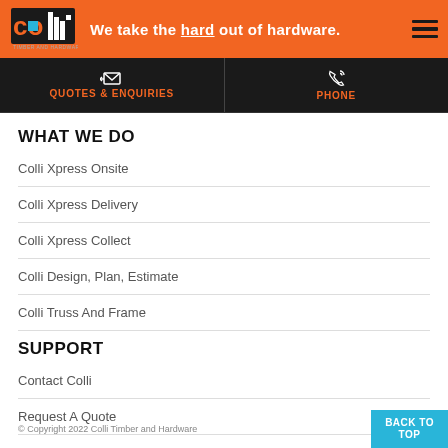We take the hard out of hardware.
QUOTES & ENQUIRIES
PHONE
WHAT WE DO
Colli Xpress Onsite
Colli Xpress Delivery
Colli Xpress Collect
Colli Design, Plan, Estimate
Colli Truss And Frame
SUPPORT
Contact Colli
Request A Quote
Sitemap
© Copyright 2022 Colli Timber and Hardware